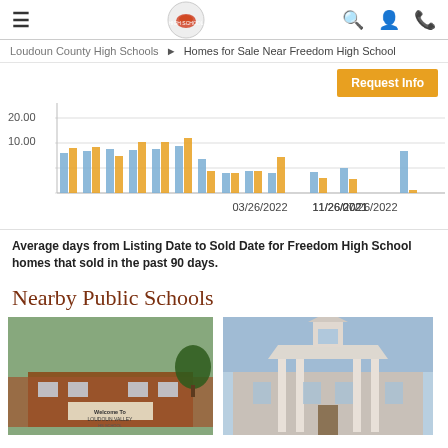Navigation header with menu, logo, search, account, phone icons
Loudoun County High Schools ▶ Homes for Sale Near Freedom High School
[Figure (grouped-bar-chart): Average days from Listing Date to Sold Date]
Average days from Listing Date to Sold Date for Freedom High School homes that sold in the past 90 days.
Nearby Public Schools
[Figure (photo): Exterior photo of Loudoun Valley school building with welcome sign]
[Figure (photo): Exterior photo of a large historic school building with white columns and cupola]